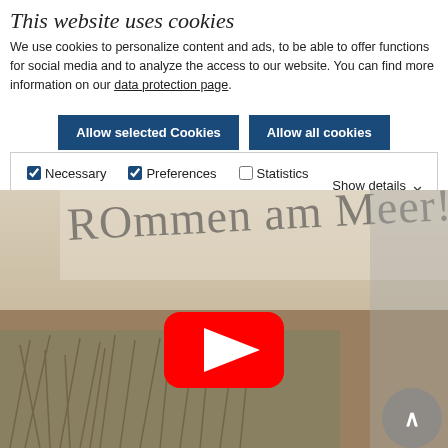This website uses cookies
We use cookies to personalize content and ads, to be able to offer functions for social media and to analyze the access to our website. You can find more information on our data protection page.
Allow selected Cookies | Allow all cookies
Necessary (checked), Preferences (checked), Statistics (unchecked), Marketing (unchecked) | Show details
[Figure (screenshot): Video thumbnail showing handwritten text 'ROMmen am Meer!' over a nature/beach scene with a YouTube play button in the center]